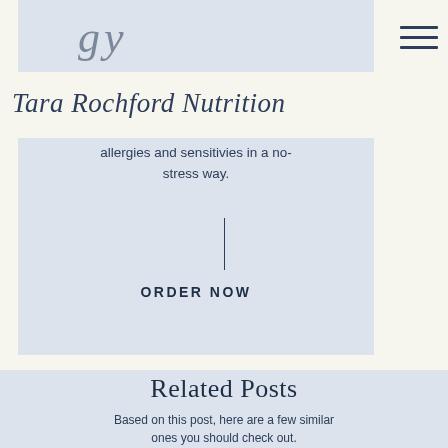[Figure (illustration): Screenshot of website top banner with script/cursive text partially visible, light blue background]
Tara Rochford Nutrition
allergies and sensitivies in a no-stress way.
ORDER NOW
Related Posts
Based on this post, here are a few similar ones you should check out.